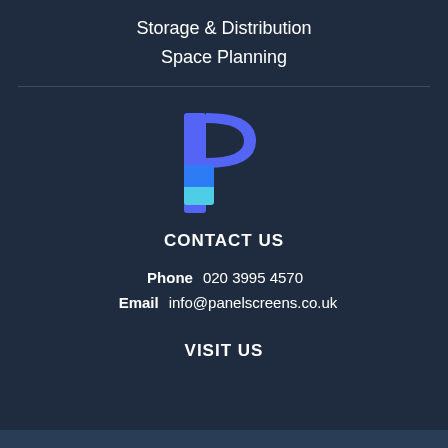Storage & Distribution
Space Planning
[Figure (logo): Panel Screens logo — stylized letter P made of blue/purple geometric shapes]
CONTACT US
Phone   020 3995 4570
Email   info@panelscreens.co.uk
VISIT US